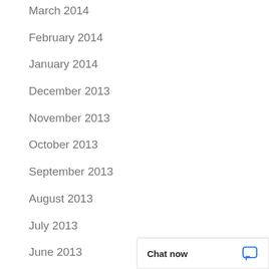March 2014
February 2014
January 2014
December 2013
November 2013
October 2013
September 2013
August 2013
July 2013
June 2013
May 2013
Chat now